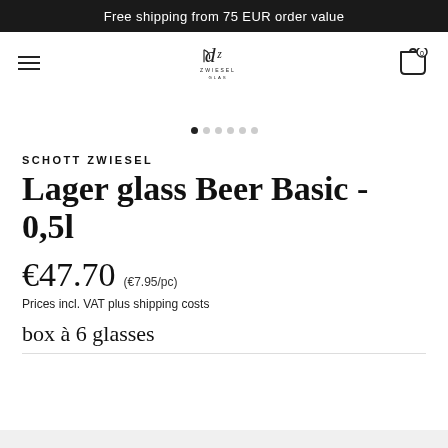Free shipping from 75 EUR order value
[Figure (logo): Zwiesel Glas logo with musical note and hamburger menu icon and cart icon]
[Figure (other): Carousel dot indicators, 6 dots with first one active]
SCHOTT ZWIESEL
Lager glass Beer Basic - 0,5l
€47.70 (€7.95/pc)
Prices incl. VAT plus shipping costs
box à 6 glasses